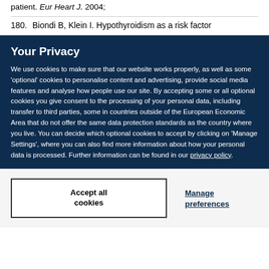180. Biondi B, Klein I. Hypothyroidism as a risk factor
Your Privacy
We use cookies to make sure that our website works properly, as well as some 'optional' cookies to personalise content and advertising, provide social media features and analyse how people use our site. By accepting some or all optional cookies you give consent to the processing of your personal data, including transfer to third parties, some in countries outside of the European Economic Area that do not offer the same data protection standards as the country where you live. You can decide which optional cookies to accept by clicking on 'Manage Settings', where you can also find more information about how your personal data is processed. Further information can be found in our privacy policy.
Accept all cookies
Manage preferences